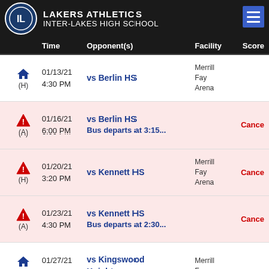LAKERS ATHLETICS INTER-LAKES HIGH SCHOOL
| Time | Opponent(s) | Facility | Score |
| --- | --- | --- | --- |
| 01/13/21 4:30 PM (H) | vs Berlin HS | Merrill Fay Arena |  |
| 01/16/21 6:00 PM (A) | vs Berlin HS Bus departs at 3:15... |  | Cance |
| 01/20/21 3:20 PM (H) | vs Kennett HS | Merrill Fay Arena | Cance |
| 01/23/21 4:30 PM (A) | vs Kennett HS Bus departs at 2:30... |  | Cance |
| 01/27/21 3:20 PM (H) | vs Kingswood Knights | Merrill Fay |  |